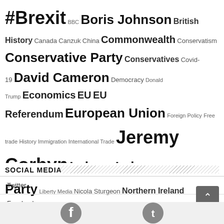#Brexit BBC Boris Johnson British History Canada Canzuk China Commonwealth Conservatism Conservative Party Conservatives Covid-19 David Cameron Democracy Donald Trump Economics EU EU Referendum European Union Foreign Policy Free trade History Immigration International Trade Jeremy Corbyn Labour Labour Party Liberty Media Nicola Sturgeon Northern Ireland Politics Scotland Scottish independence Scottish independence referendum Scottish Nationalism Scottish National Party SNP socialism Theresa May UK UK Current Affairs UK General Election 2017 UK Politics United Kingdom
SOCIAL MEDIA
Twitter
Facebook